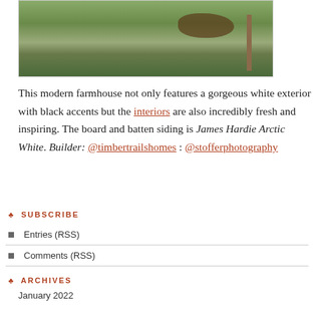[Figure (photo): Partial view of a modern farmhouse exterior showing green lawn, dark soil/garden bed, and a wooden post]
This modern farmhouse not only features a gorgeous white exterior with black accents but the interiors are also incredibly fresh and inspiring. The board and batten siding is James Hardie Arctic White. Builder: @timbertrailshomes : @stofferphotography
♣ SUBSCRIBE
Entries (RSS)
Comments (RSS)
♣ ARCHIVES
January 2022